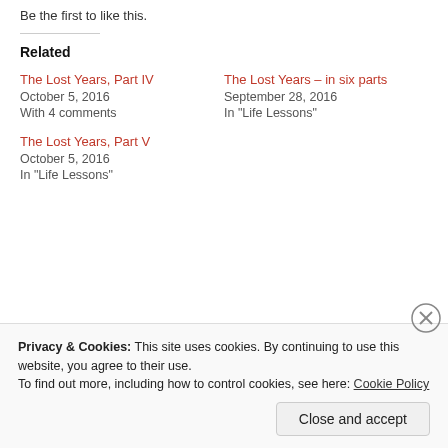Be the first to like this.
Related
The Lost Years, Part IV
October 5, 2016
With 4 comments
The Lost Years – in six parts
September 28, 2016
In "Life Lessons"
The Lost Years, Part V
October 5, 2016
In "Life Lessons"
Privacy & Cookies: This site uses cookies. By continuing to use this website, you agree to their use.
To find out more, including how to control cookies, see here: Cookie Policy